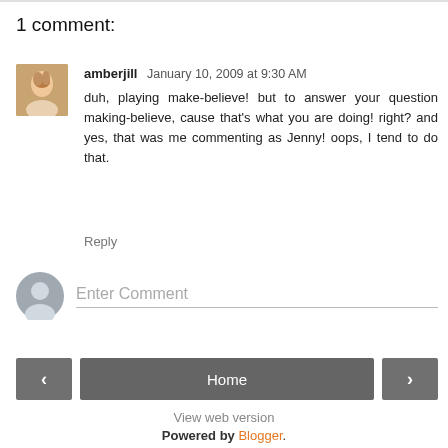1 comment:
amberjill January 10, 2009 at 9:30 AM
duh, playing make-believe! but to answer your question making-believe, cause that's what you are doing! right? and yes, that was me commenting as Jenny! oops, I tend to do that.
Reply
Enter Comment
Home
View web version
Powered by Blogger.